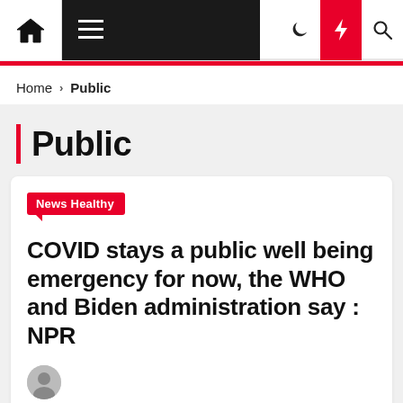Home > Public
Public
News Healthy
COVID stays a public well being emergency for now, the WHO and Biden administration say : NPR